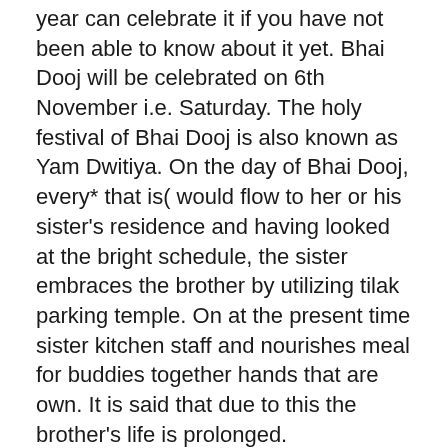year can celebrate it if you have not been able to know about it yet. Bhai Dooj will be celebrated on 6th November i.e. Saturday. The holy festival of Bhai Dooj is also known as Yam Dwitiya. On the day of Bhai Dooj, every* that is( would flow to her or his sister's residence and having looked at the bright schedule, the sister embraces the brother by utilizing tilak parking temple. On at the present time sister kitchen staff and nourishes meal for buddies together hands that are own. It is said that due to this the brother's life is prolonged.
Bhai Dooj 2021 kab (* that is hai